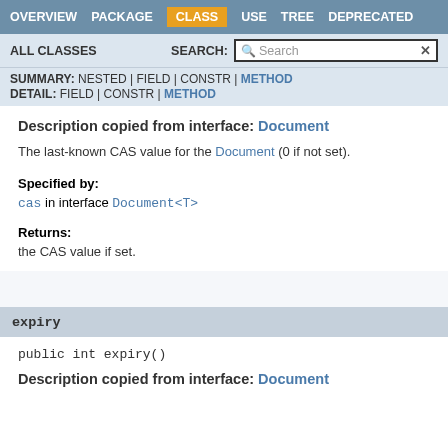OVERVIEW  PACKAGE  CLASS  USE  TREE  DEPRECATED
ALL CLASSES   SEARCH:  Search
SUMMARY: NESTED | FIELD | CONSTR | METHOD  DETAIL: FIELD | CONSTR | METHOD
Description copied from interface: Document
The last-known CAS value for the Document (0 if not set).
Specified by:
cas in interface Document<T>
Returns:
the CAS value if set.
expiry
public int expiry()
Description copied from interface: Document